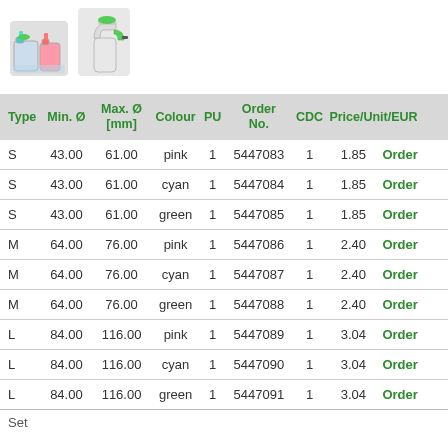[Figure (illustration): Two product images: cleaning/lab container set on left, spray bottle on right]
| Type | Min. Ø | Max. Ø [mm] | Colour | PU | Order No. | CDC | Price/Unit/EUR |  |
| --- | --- | --- | --- | --- | --- | --- | --- | --- |
| S | 43.00 | 61.00 | pink | 1 | 5447083 | 1 | 1.85 | Order |
| S | 43.00 | 61.00 | cyan | 1 | 5447084 | 1 | 1.85 | Order |
| S | 43.00 | 61.00 | green | 1 | 5447085 | 1 | 1.85 | Order |
| M | 64.00 | 76.00 | pink | 1 | 5447086 | 1 | 2.40 | Order |
| M | 64.00 | 76.00 | cyan | 1 | 5447087 | 1 | 2.40 | Order |
| M | 64.00 | 76.00 | green | 1 | 5447088 | 1 | 2.40 | Order |
| L | 84.00 | 116.00 | pink | 1 | 5447089 | 1 | 3.04 | Order |
| L | 84.00 | 116.00 | cyan | 1 | 5447090 | 1 | 3.04 | Order |
| L | 84.00 | 116.00 | green | 1 | 5447091 | 1 | 3.04 | Order |